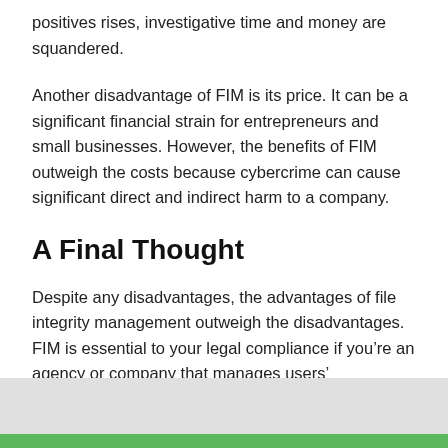positives rises, investigative time and money are squandered.
Another disadvantage of FIM is its price. It can be a significant financial strain for entrepreneurs and small businesses. However, the benefits of FIM outweigh the costs because cybercrime can cause significant direct and indirect harm to a company.
A Final Thought
Despite any disadvantages, the advantages of file integrity management outweigh the disadvantages. FIM is essential to your legal compliance if you’re an agency or company that manages users’ confidential financial details or health-